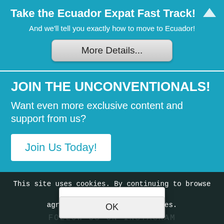Take the Ecuador Expat Fast Track!
And we'll tell you exactly how to move to Ecuador!
More Details...
JOIN THE UNCONVENTIONALS!
Want even more exclusive content and support from us?
Join Us Today!
This site uses cookies. By continuing to browse the site, you are agreeing to our use of cookies.
FOLLOW US ON INSTAGRAM
HOW WE WA
OK